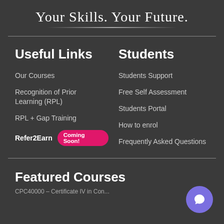Your Skills. Your Future.
Useful Links
Our Courses
Recognition of Prior Learning (RPL)
RPL + Gap Training
Refer2Earn  Coming Soon!
Students
Students Support
Free Self Assessment
Students Portal
How to enrol
Frequently Asked Questions
Featured Courses